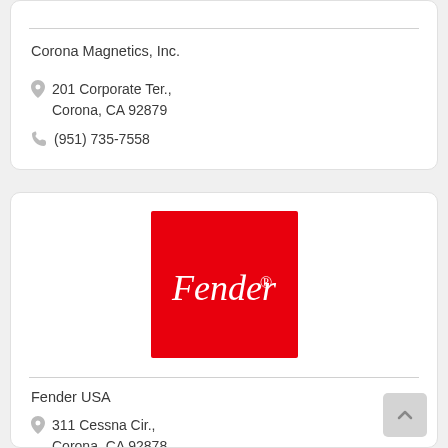Corona Magnetics, Inc.
201 Corporate Ter., Corona, CA 92879
(951) 735-7558
[Figure (logo): Fender logo — white cursive 'Fender' script on a red square background]
Fender USA
311 Cessna Cir., Corona, CA 92878